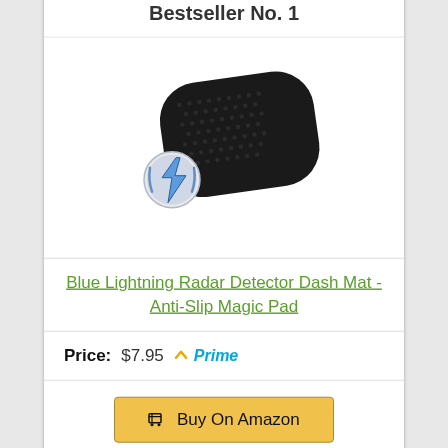Bestseller No. 1
[Figure (photo): Black anti-slip dash mat / magic pad product photo with a lightning bolt logo overlay]
Blue Lightning Radar Detector Dash Mat - Anti-Slip Magic Pad
Price: $7.95 Prime
Buy On Amazon